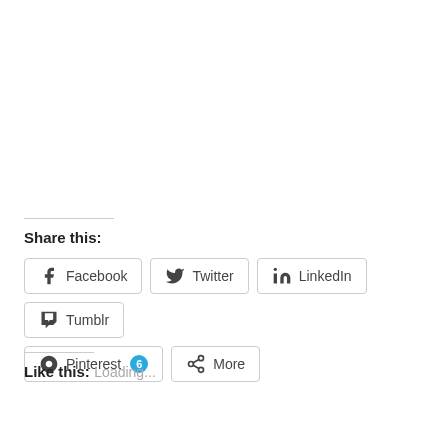Share this:
Facebook
Twitter
LinkedIn
Tumblr
Pinterest 6
More
Like this:
Loading...